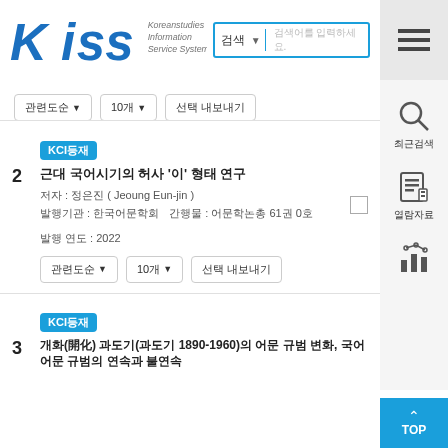[Figure (logo): KISS - Koreanstudies Information Service System logo]
최근검색
열람자료
KCI등재
2 근대 국어시기의 허사 '이' 형태 연구
저자 : 정은진 ( Jeoung Eun-jin )
발행기관 : 한국어문학회   간행물 : 어문학논총 61권 0호   발행 연도 : 2022
KCI등재
3  개화(開化) 과도기(과도기 1890-1960)의 어문 규범 변화, 국어 어문 규범의 연속과 불연속